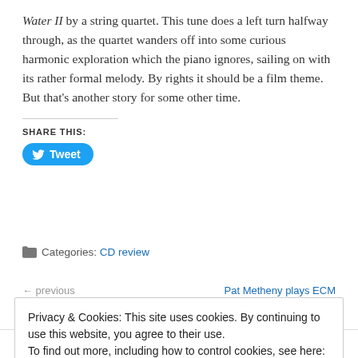Water II by a string quartet. This tune does a left turn halfway through, as the quartet wanders off into some curious harmonic exploration which the piano ignores, sailing on with its rather formal melody. By rights it should be a film theme. But that's another story for some other time.
SHARE THIS:
Tweet
Categories: CD review
Privacy & Cookies: This site uses cookies. By continuing to use this website, you agree to their use. To find out more, including how to control cookies, see here: Cookie Policy
Close and accept
Reply